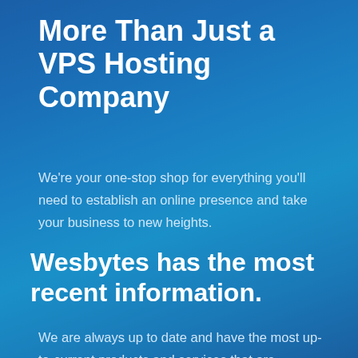More Than Just a VPS Hosting Company
We're your one-stop shop for everything you'll need to establish an online presence and take your business to new heights.
Wesbytes has the most recent information.
We are always up to date and have the most up-to-current products and services that are